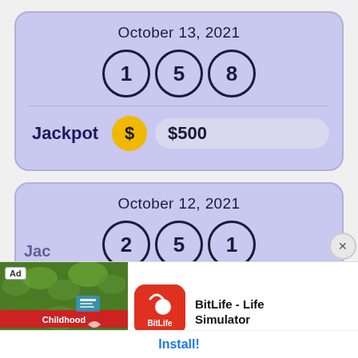[Figure (screenshot): Lottery card for October 13, 2021 showing balls 1, 5, 8 and Jackpot $500]
October 13, 2021
1  5  8
Jackpot  $500
[Figure (screenshot): Lottery card for October 12, 2021 showing balls 2, 5, 1]
October 12, 2021
2  5  1
[Figure (screenshot): Ad banner: BitLife - Life Simulator app advertisement with Install button]